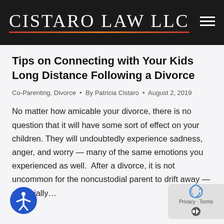CISTARO LAW LLC
Tips on Connecting with Your Kids Long Distance Following a Divorce
Co-Parenting, Divorce • By Patricia Cistaro • August 2, 2019
No matter how amicable your divorce, there is no question that it will have some sort of effect on your children. They will undoubtedly experience sadness, anger, and worry — many of the same emotions you experienced as well. After a divorce, it is not uncommon for the noncustodial parent to drift away — especially…